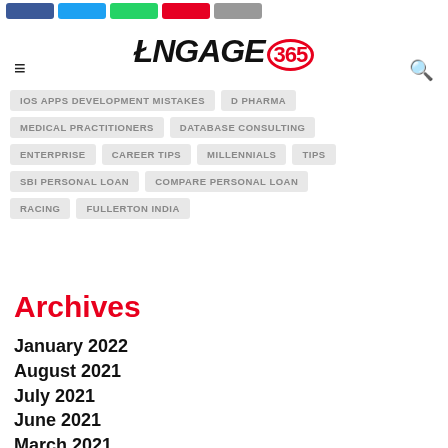ENGAGE 365 - Social share bar and site logo
IOS APPS DEVELOPMENT MISTAKES
D PHARMA
MEDICAL PRACTITIONERS
DATABASE CONSULTING
ENTERPRISE
CAREER TIPS
MILLENNIALS
TIPS
SBI PERSONAL LOAN
COMPARE PERSONAL LOAN
RACING
FULLERTON INDIA
Archives
January 2022
August 2021
July 2021
June 2021
March 2021
February 2021
January 2021
December 2020
November 2020
October 2020